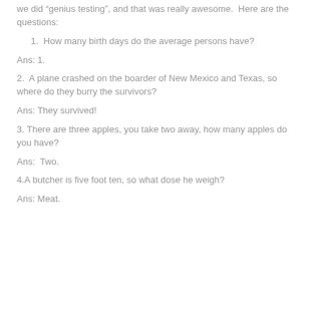we did “genius testing”, and that was really awesome.  Here are the questions:
1.  How many birth days do the average persons have?
Ans: 1.
2.  A plane crashed on the boarder of New Mexico and Texas, so where do they burry the survivors?
Ans: They survived!
3. There are three apples, you take two away, how many apples do you have?
Ans:  Two.
4.A butcher is five foot ten, so what dose he weigh?
Ans: Meat.